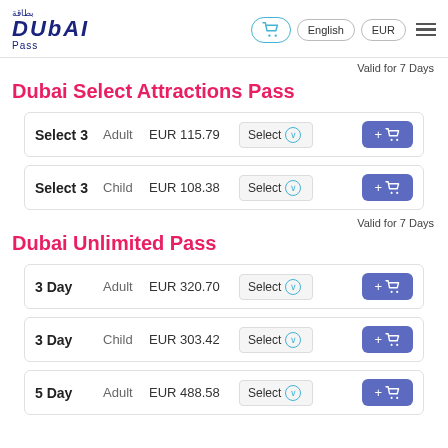Dubai Pass | English | EUR | Menu
Valid for 7 Days
Dubai Select Attractions Pass
| Pass | Type | Price | Select | Add |
| --- | --- | --- | --- | --- |
| Select 3 | Adult | EUR 115.79 | Select | +cart |
| Select 3 | Child | EUR 108.38 | Select | +cart |
Valid for 7 Days
Dubai Unlimited Pass
| Pass | Type | Price | Select | Add |
| --- | --- | --- | --- | --- |
| 3 Day | Adult | EUR 320.70 | Select | +cart |
| 3 Day | Child | EUR 303.42 | Select | +cart |
| 5 Day | Adult | EUR 488.58 | Select | +cart |